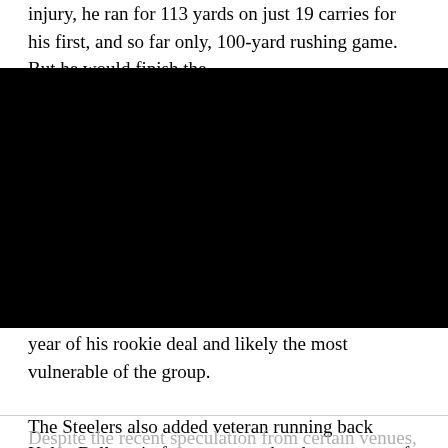injury, he ran for 113 yards on just 19 carries for his first, and so far only, 100-yard rushing game. But he would finish the season with just 38 rushes for 141 yards for f
[Figure (photo): Black redacted/obscured image block covering the middle section of the page]
year of his rookie deal and likely the most vulnerable of the group.
The Steelers also added veteran running back Kalen Ballage in free agency, who shares many of the same traits as Snell and likely would be his most direct competition for a roster spot. They have five rosterable backs, and must decide if they will keep three or four of them.
Despite the recent speculation from certain venues, and his